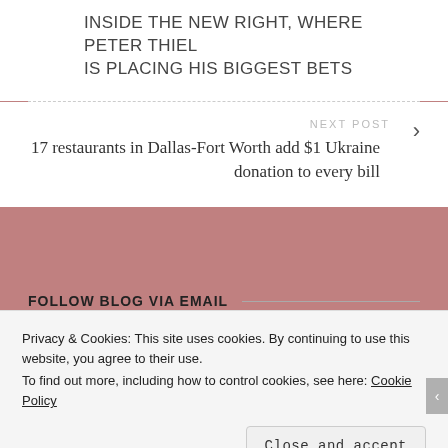INSIDE THE NEW RIGHT, WHERE PETER THIEL IS PLACING HIS BIGGEST BETS
NEXT POST
17 restaurants in Dallas-Fort Worth add $1 Ukraine donation to every bill
FOLLOW BLOG VIA EMAIL
Enter your email address to follow this blog and receive notifications of
Privacy & Cookies: This site uses cookies. By continuing to use this website, you agree to their use.
To find out more, including how to control cookies, see here: Cookie Policy
Close and accept